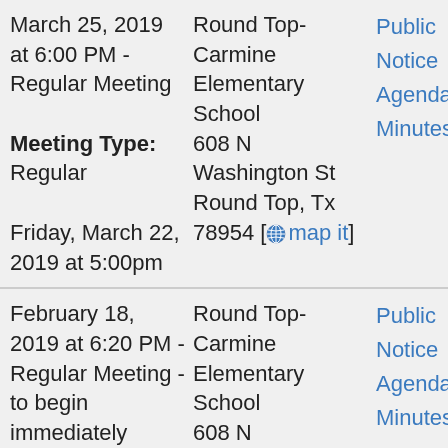| Date/Time/Type | Location | Links |
| --- | --- | --- |
| March 25, 2019 at 6:00 PM - Regular Meeting
Meeting Type: Regular
Friday, March 22, 2019 at 5:00pm | Round Top-Carmine Elementary School
608 N Washington St
Round Top, Tx 78954 [map it] | Public Notice
Agenda
Minutes |
| February 18, 2019 at 6:20 PM - Regular Meeting - to begin immediately following the conclusion of the Public Hearing. Time is approximate. | Round Top-Carmine Elementary School
608 N Washington St
Round Top, Tx 78954 [map it] | Public Notice
Agenda
Minutes |